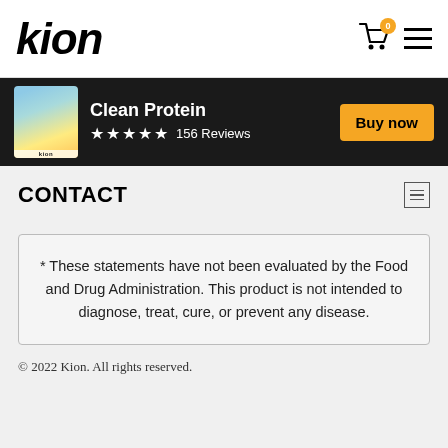KION
[Figure (screenshot): Product banner showing Kion Clean Protein bag with 5 stars and 156 Reviews, with Buy now button]
CONTACT
* These statements have not been evaluated by the Food and Drug Administration. This product is not intended to diagnose, treat, cure, or prevent any disease.
© 2022 Kion. All rights reserved.